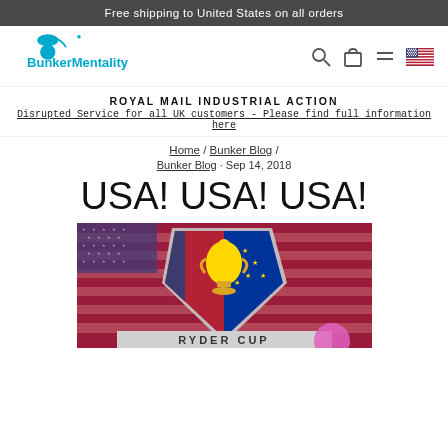Free shipping to United States on all orders
[Figure (logo): BunkerMentality golf brand logo in blue with golf club motif]
ROYAL MAIL INDUSTRIAL ACTION
Disrupted Service for all UK customers - Please find full information here
Home / Bunker Blog /
Bunker Blog · Sep 14, 2018
USA! USA! USA!
[Figure (photo): Ryder Cup logo/badge with golden trophy on background of USA and European flags, with 'RYDER CUP' text at bottom]